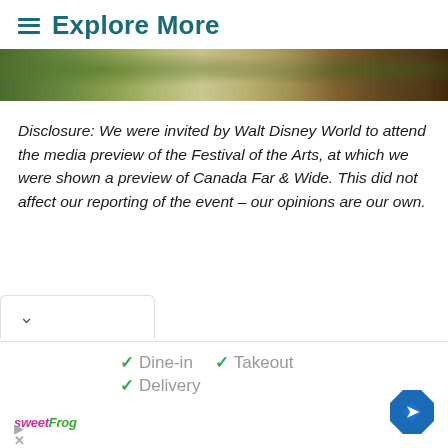Explore More
[Figure (photo): Partial photo strip showing a building with trees and flowers, appears to be a Disney World venue]
Disclosure: We were invited by Walt Disney World to attend the media preview of the Festival of the Arts, at which we were shown a preview of Canada Far & Wide. This did not affect our reporting of the event – our opinions are our own.
[Figure (screenshot): Advertisement bar at bottom showing sweetFrog logo, green checkmarks with Dine-in, Takeout, and Delivery options, and a blue navigation diamond icon]